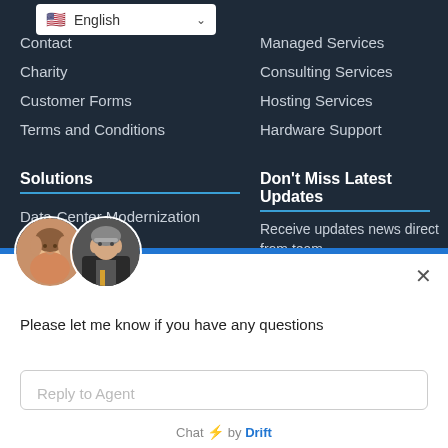[Figure (screenshot): Language dropdown showing US flag, English text, and chevron]
Contact
Charity
Customer Forms
Terms and Conditions
Managed Services
Consulting Services
Hosting Services
Hardware Support
Solutions
Don't Miss Latest Updates
Data-Center Modernization
Hyper-Converged
Sto
Receive updates news direct from team
Enter Email Address
[Figure (photo): Two circular avatar photos of agents — a woman with blonde hair smiling and a man in a suit with glasses]
×
Please let me know if you have any questions
Reply to Agent
Chat ⚡ by Drift